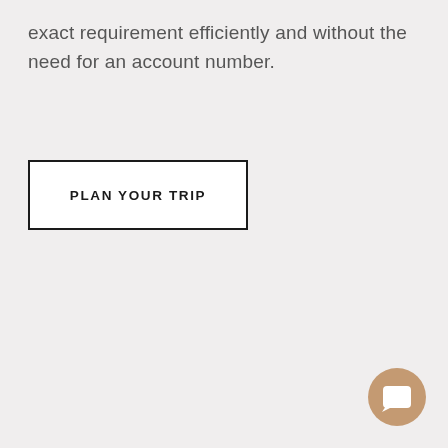exact requirement efficiently and without the need for an account number.
[Figure (other): A rectangular button with bold uppercase text 'PLAN YOUR TRIP' inside a black border]
[Figure (other): A circular chat widget button with a tan/beige background and a white speech bubble icon, positioned in the bottom-right corner]